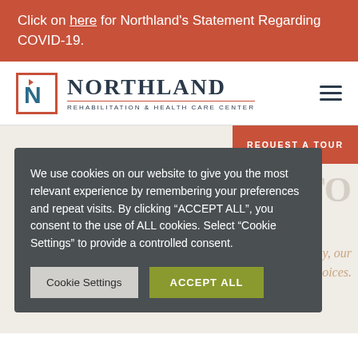Click on here for Northland's Statement Regarding COVID-19.
[Figure (logo): Northland Rehabilitation & Health Care Center logo with N lettermark in red-bordered box]
REQUEST A TOUR
We use cookies on our website to give you the most relevant experience by remembering your preferences and repeat visits. By clicking “ACCEPT ALL”, you consent to the use of ALL cookies. Select "Cookie Settings" to provide a controlled consent.
Cookie Settings
ACCEPT ALL